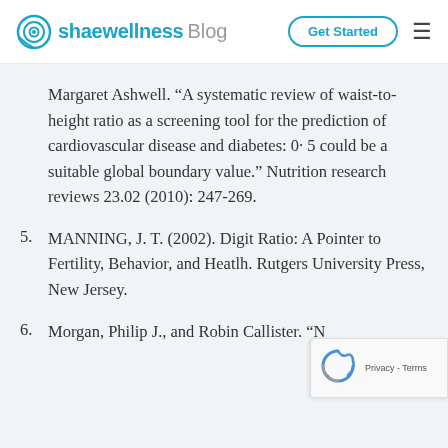shaewellness Blog | Get Started
Margaret Ashwell. “A systematic review of waist-to-height ratio as a screening tool for the prediction of cardiovascular disease and diabetes: 0· 5 could be a suitable global boundary value.” Nutrition research reviews 23.02 (2010): 247-269.
5. MANNING, J. T. (2002). Digit Ratio: A Pointer to Fertility, Behavior, and Heatlh. Rutgers University Press, New Jersey.
6. Morgan, Philip J., and Robin Callister. “N…